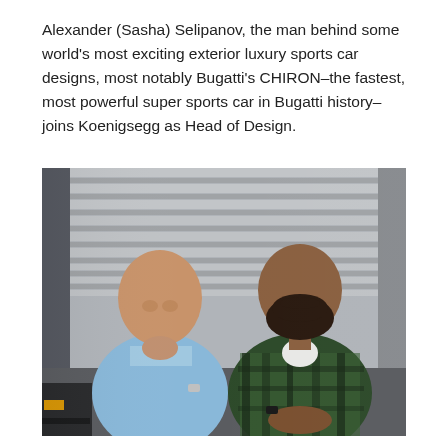Alexander (Sasha) Selipanov, the man behind some world's most exciting exterior luxury sports car designs, most notably Bugatti's CHIRON–the fastest, most powerful super sports car in Bugatti history–joins Koenigsegg as Head of Design.
[Figure (photo): Two bald men sitting in front of industrial metal roller shutter doors. The man on the left wears a light blue shirt and has his hand raised to his chin. The man on the right has a full dark beard and wears a green and black plaid flannel shirt. Both are seated casually on what appears to be a factory or warehouse floor.]